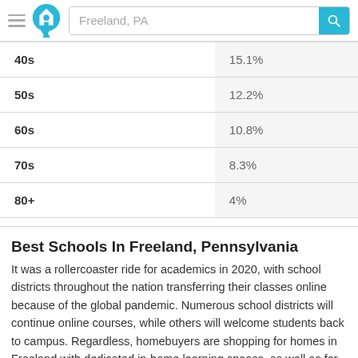Freeland, PA
| Age Group | Percentage |
| --- | --- |
| 40s | 15.1% |
| 50s | 12.2% |
| 60s | 10.8% |
| 70s | 8.3% |
| 80+ | 4% |
Best Schools In Freeland, Pennsylvania
It was a rollercoaster ride for academics in 2020, with school districts throughout the nation transferring their classes online because of the global pandemic. Numerous school districts will continue online courses, while others will welcome students back to campus. Regardless, homebuyers are shopping for homes in Freeland with dedicated in-home learning spaces, as well as for homes located within the best school systems for in